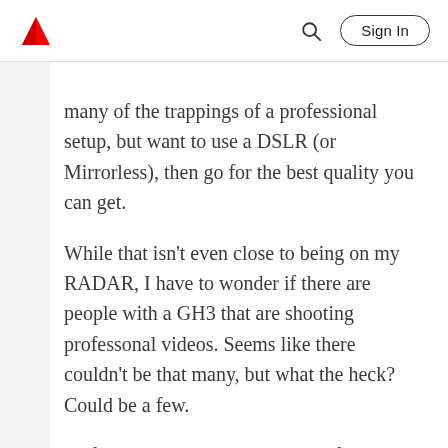Adobe | Sign In
many of the trappings of a professional setup, but want to use a DSLR (or Mirrorless), then go for the best quality you can get.
While that isn't even close to being on my RADAR, I have to wonder if there are people with a GH3 that are shooting professonal videos. Seems like there couldn't be that many, but what the heck? Could be a few.
So far, I have many many hours of shooting time dedicated to stills, and about two hours of video. If that ratio ever shifts toward video that is more